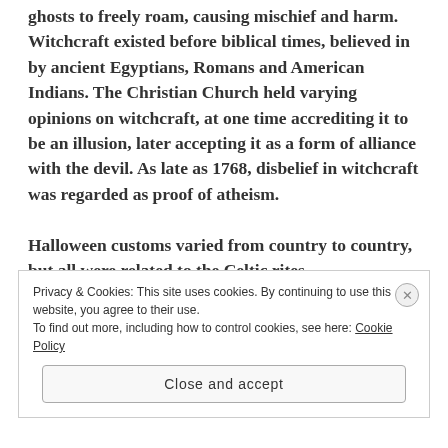ghosts to freely roam, causing mischief and harm. Witchcraft existed before biblical times, believed in by ancient Egyptians, Romans and American Indians. The Christian Church held varying opinions on witchcraft, at one time accrediting it to be an illusion, later accepting it as a form of alliance with the devil. As late as 1768, disbelief in witchcraft was regarded as proof of atheism.
Halloween customs varied from country to country, but all were related to the Celtic rites.
Privacy & Cookies: This site uses cookies. By continuing to use this website, you agree to their use.
To find out more, including how to control cookies, see here: Cookie Policy
Close and accept